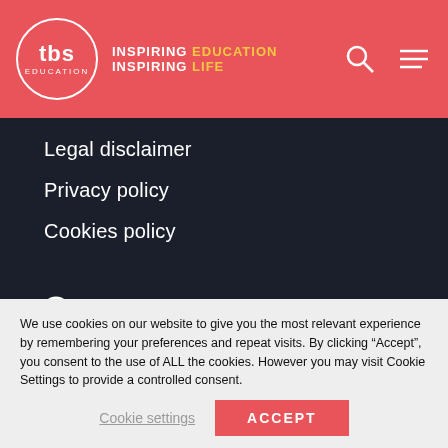[Figure (logo): TBS Education logo with circular border, tagline INSPIRING EDUCATION INSPIRING LIFE, and navigation icons (search and menu)]
Legal disclaimer
Privacy policy
Cookies policy
SEARCH
We use cookies on our website to give you the most relevant experience by remembering your preferences and repeat visits. By clicking "Accept", you consent to the use of ALL the cookies. However you may visit Cookie Settings to provide a controlled consent.
Cookie settings
ACCEPT